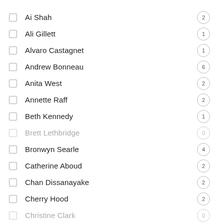Ai Shah
Ali Gillett
Alvaro Castagnet
Andrew Bonneau
Anita West
Annette Raff
Beth Kennedy
Brett Lethbridge
Bronwyn Searle
Catherine Aboud
Chan Dissanayake
Cherry Hood
Christine Clark
...